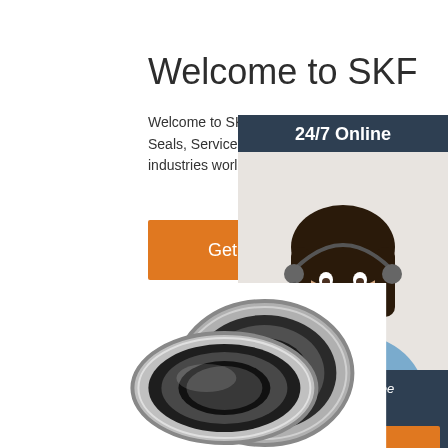Welcome to SKF
Welcome to SKF! We deliver Bearings and Units, Seals, Services and Lubrication management to industries worldwide.
Get Price
[Figure (infographic): Chat widget with 24/7 Online header, photo of a woman with headset, 'Click here for free chat!' text, and QUOTATION button]
[Figure (photo): Two metallic ball bearings (SKF bearings) photographed against a white background]